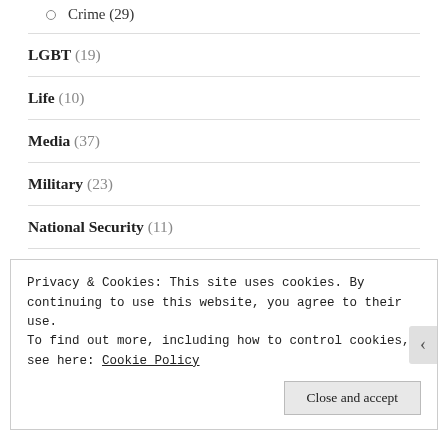Crime (29)
LGBT (19)
Life (10)
Media (37)
Military (23)
National Security (11)
News (19)
Privacy & Cookies: This site uses cookies. By continuing to use this website, you agree to their use.
To find out more, including how to control cookies, see here: Cookie Policy
Close and accept